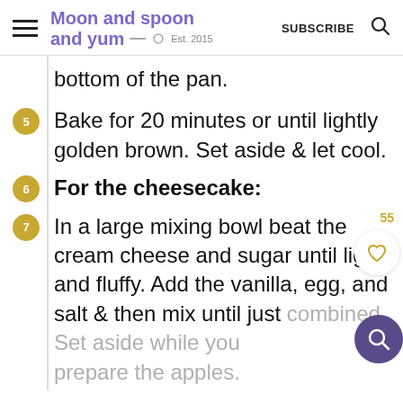Moon and spoon and yum — Est. 2015 | SUBSCRIBE
bottom of the pan.
5 Bake for 20 minutes or until lightly golden brown. Set aside & let cool.
6 For the cheesecake:
7 In a large mixing bowl beat the cream cheese and sugar until light and fluffy. Add the vanilla, egg, and salt & then mix until just combined. Set aside while you prepare the apples.